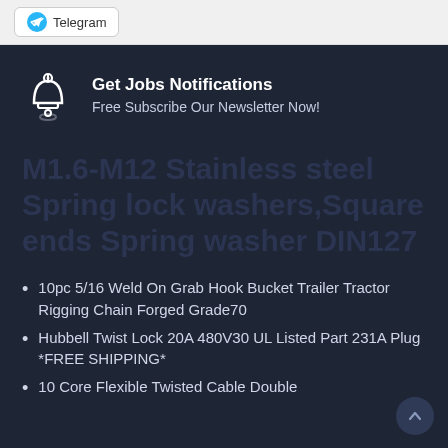Telegram
Get Jobs Notifications
Free Subscribe Our Newsletter Now!
M1.6-M12 Stainless steel Spring lock washers,Square ends Spring washer DIN127
10pc 5/16 Weld On Grab Hook Bucket Trailer Tractor Rigging Chain Forged Grade70
Hubbell Twist Lock 20A 480V30 UL Listed Part 231A Plug *FREE SHIPPING*
10 Core Flexible Twisted Cable Double…